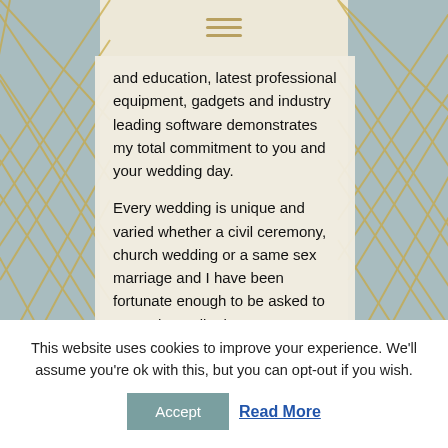[Figure (illustration): Decorative background with blue-grey and gold diagonal lattice/trellis pattern on both sides, cream content area in center. A gold penny-farthing bicycle illustration appears in the lower right of the content area.]
and education, latest professional equipment, gadgets and industry leading software demonstrates my total commitment to you and your wedding day.
Every wedding is unique and varied whether a civil ceremony, church wedding or a same sex marriage and I have been fortunate enough to be asked to cover them all. The one overriding factor is the unity and
This website uses cookies to improve your experience. We'll assume you're ok with this, but you can opt-out if you wish.
Accept
Read More